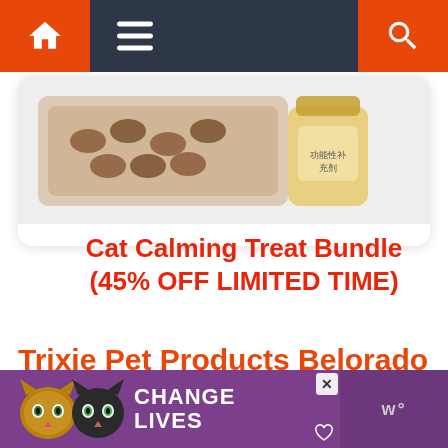[Figure (screenshot): Website navigation bar with home icon (orange background), hamburger menu icon, and search icon (orange background) on dark background]
[Figure (photo): Cat calming treat bundle product image showing treats and a jar]
Cat Calming Treat Bundle (45% OFF LIMITED TIME)
Trixie Pet Products Belorado Adjustable Cat Tree
[Figure (screenshot): Advertisement banner with purple background showing two cats and text CHANGE LIVES with close button]